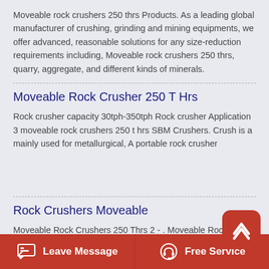Moveable rock crushers 250 thrs Products. As a leading global manufacturer of crushing, grinding and mining equipments, we offer advanced, reasonable solutions for any size-reduction requirements including, Moveable rock crushers 250 thrs, quarry, aggregate, and different kinds of minerals.
Moveable Rock Crusher 250 T Hrs
Rock crusher capacity 30tph-350tph Rock crusher Application 3 moveable rock crushers 250 t hrs SBM Crushers. Crush is a mainly used for metallurgical, A portable rock crusher
Rock Crushers Moveable
Moveable Rock Crushers 250 Thrs 2 - . Moveable Rock Crushers 250 Tph Mc Machinery. Moveable rock crushers tph Metro Systems. moveable rock crushers 250 tph . 200 Tph Rock Crusher Plant Layout 100 tph portable crushing plant
Leave Message   Free Service